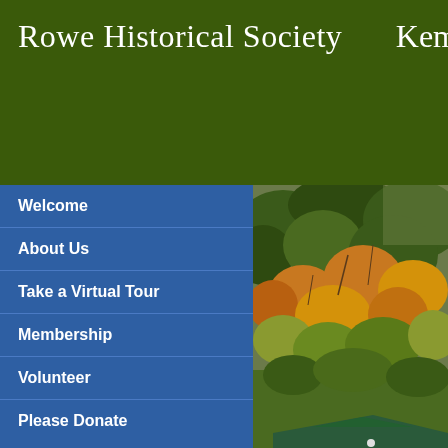Rowe Historical Society    Kemp
Welcome
About Us
Take a Virtual Tour
Membership
Volunteer
Please Donate
[Figure (photo): Aerial view of autumn trees with orange and yellow foliage, and a green roof visible at the bottom]